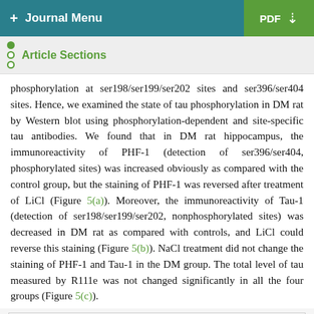+ Journal Menu | PDF ↓
Article Sections
phosphorylation at ser198/ser199/ser202 sites and ser396/ser404 sites. Hence, we examined the state of tau phosphorylation in DM rat by Western blot using phosphorylation-dependent and site-specific tau antibodies. We found that in DM rat hippocampus, the immunoreactivity of PHF-1 (detection of ser396/ser404, phosphorylated sites) was increased obviously as compared with the control group, but the staining of PHF-1 was reversed after treatment of LiCl (Figure 5(a)). Moreover, the immunoreactivity of Tau-1 (detection of ser198/ser199/ser202, nonphosphorylated sites) was decreased in DM rat as compared with controls, and LiCl could reverse this staining (Figure 5(b)). NaCl treatment did not change the staining of PHF-1 and Tau-1 in the DM group. The total level of tau measured by R111e was not changed significantly in all the four groups (Figure 5(c)).
[Figure (photo): Western blot gel image showing protein bands across multiple lanes]